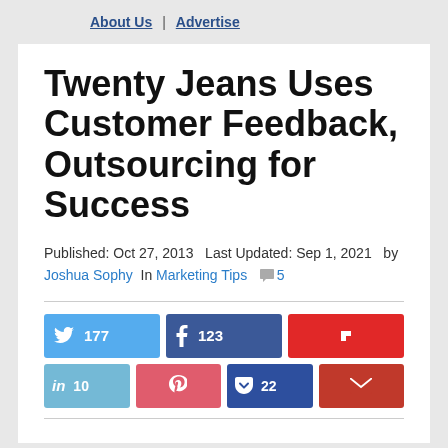About Us | Advertise
Twenty Jeans Uses Customer Feedback, Outsourcing for Success
Published: Oct 27, 2013   Last Updated: Sep 1, 2021   by Joshua Sophy   In Marketing Tips   💬5
[Figure (infographic): Social share buttons row 1: Twitter 177, Facebook 123, Flipboard (no count). Row 2: LinkedIn 10, Pinterest (no count), Pocket 22, Email (no count).]